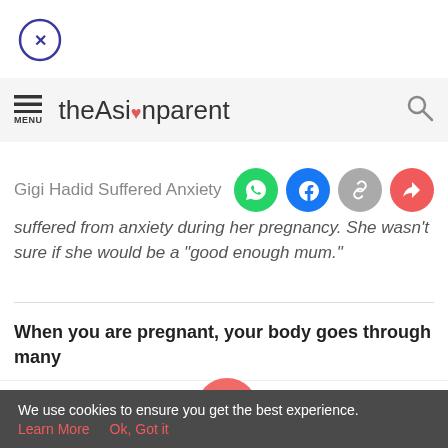[Figure (other): Close button circle with X]
theAsianparent
Gigi Hadid Suffered Anxiety During H
suffered from anxiety during her pregnancy. She wasn't sure if she would be a "good enough mum."
When you are pregnant, your body goes through many
[Figure (other): Bottom navigation bar with Tools, Articles, Home, Feed, Poll icons]
We use cookies to ensure you get the best experience. Learn More  Ok, Got it